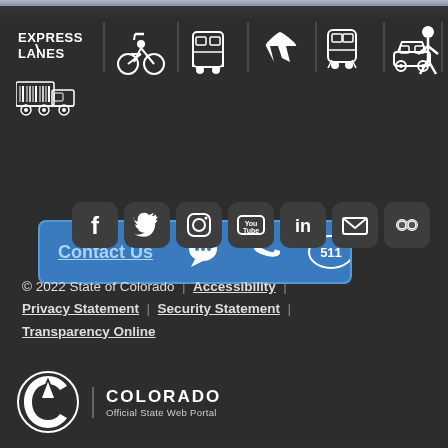[Figure (logo): Express Lanes logo and transportation mode icons (bicycle, bus, airplane, rail, car, pedestrian, freight truck) with vertical dividers on dark background]
[Figure (infographic): Contact Us button with speech bubble, phone, and 511 icons on blue background]
[Figure (infographic): Social media icons row: Facebook, Twitter, Instagram, YouTube, LinkedIn, Email, Flickr]
© 2022 State of Colorado | Accessibility | Privacy Statement | Security Statement | Transparency Online
[Figure (logo): Colorado Official State Web Portal logo with mountain/C emblem]